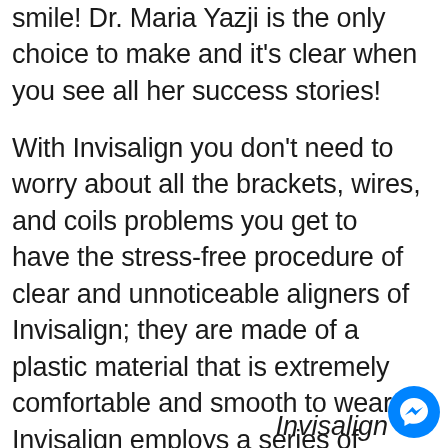smile! Dr. Maria Yazji is the only choice to make and it's clear when you see all her success stories!
With Invisalign you don't need to worry about all the brackets, wires, and coils problems you get to have the stress-free procedure of clear and unnoticeable aligners of Invisalign; they are made of a plastic material that is extremely comfortable and smooth to wear. Invisalign employs a series of clear plastic aligners to alter your teeth through every pair you wear. Each set is worn for about two weeks and then you move on to the next set.
Invisalign